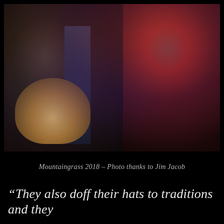[Figure (photo): Two musicians performing on stage at Mountaingrass 2018. On the left, a man wearing a black hat and dark shirt plays a banjo. On the right, a woman with long reddish-brown hair, glasses, and a large tattoo of a sailing ship on her upper arm plays a guitar/ukulele. A microphone on a stand is visible between them. Stage lighting is purple, red, and blue.]
Mountaingrass 2018 – Photo thanks to Jim Jacob
“They also doff their hats to traditions and they